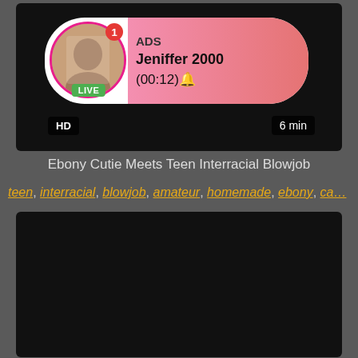[Figure (screenshot): Video thumbnail with dark background showing a live stream ad overlay with avatar, LIVE badge, ADS label, username Jeniffer 2000, timer (00:12), HD badge, and 6 min duration]
Ebony Cutie Meets Teen Interracial Blowjob
teen, interracial, blowjob, amateur, homemade, ebony, ca...
[Figure (screenshot): Second video thumbnail with dark/black background]